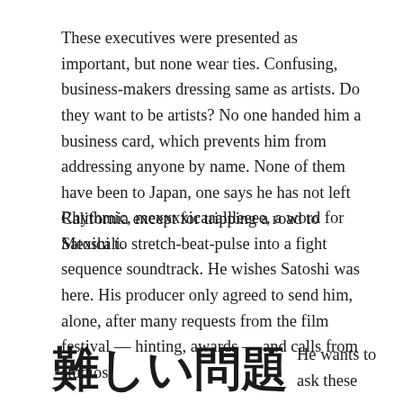These executives were presented as important, but none wear ties. Confusing, business-makers dressing same as artists. Do they want to be artists? No one handed him a business card, which prevents him from addressing anyone by name. None of them have been to Japan, one says he has not left California except for tripping a road to Mexicali.
Rhythmic, mexxxxicaaallleeee, a word for Satoshi to stretch-beat-pulse into a fight sequence soundtrack. He wishes Satoshi was here. His producer only agreed to send him, alone, after many requests from the film festival — hinting, awards — and calls from studios.
難しい問題
He wants to ask these